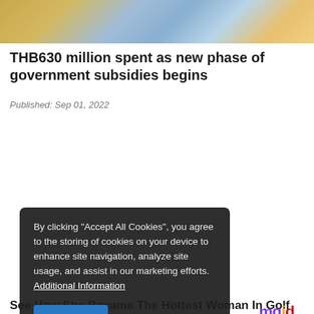[Figure (photo): Top banner image showing what appears to be Thai government subsidy cards or banking cards with Thai text]
THB630 million spent as new phase of government subsidies begins
Published: Sep 01, 2022
By clicking "Accept All Cookies", you agree to the storing of cookies on your device to enhance site navigation, analyze site usage, and assist in our marketing efforts. Additional Information
Accept All | Cookies Settings
[Figure (photo): Woman in yellow top holding a golf club, crouched on a golf course]
See How She Became The Hottest Woman In Golf